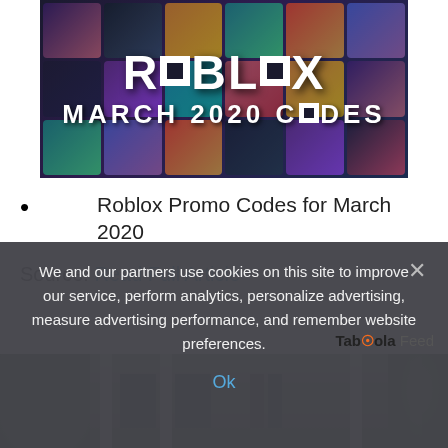[Figure (illustration): Roblox March 2020 Codes promotional banner image with Roblox logo and text 'MARCH 2020 CODES' on a dark background with game thumbnails]
Roblox Promo Codes for March 2020
Source: Read Full Article
[Figure (photo): Taboola Feed section with a photo of a building exterior with columns and trees]
We and our partners use cookies on this site to improve our service, perform analytics, personalize advertising, measure advertising performance, and remember website preferences.
Ok